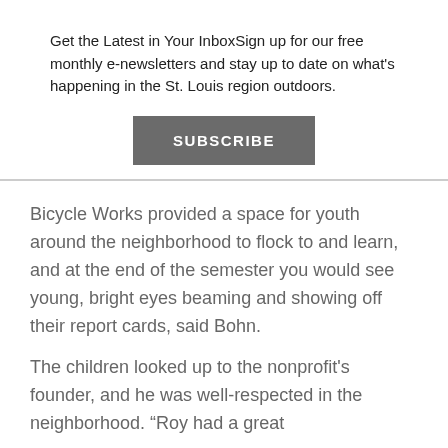Get the Latest in Your InboxSign up for our free monthly e-newsletters and stay up to date on what's happening in the St. Louis region outdoors.
SUBSCRIBE
Bicycle Works provided a space for youth around the neighborhood to flock to and learn, and at the end of the semester you would see young, bright eyes beaming and showing off their report cards, said Bohn.
The children looked up to the nonprofit's founder, and he was well-respected in the neighborhood. “Roy had a great